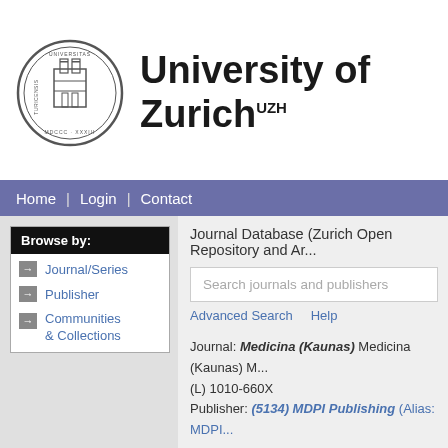[Figure (logo): University of Zurich circular seal/logo]
University of Zurich UZH
Home | Login | Contact
Browse by:
Journal/Series
Publisher
Communities & Collections
Journal Database (Zurich Open Repository and Ar...
Search journals and publishers
Advanced Search   Help
Journal: Medicina (Kaunas) Medicina (Kaunas) ... (L) 1010-660X
Publisher: (5134) MDPI Publishing (Alias: MDPI...
There are no additional documents for this Publishe...
Item Type:  Journal/Series
Publication Type:  Journal